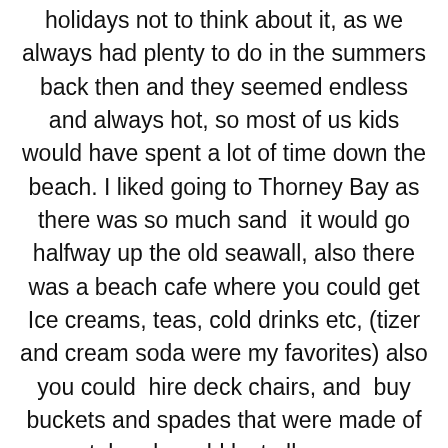holidays not to think about it, as we always had plenty to do in the summers back then and they seemed endless and always hot, so most of us kids would have spent a lot of time down the beach. I liked going to Thorney Bay as there was so much sand  it would go halfway up the old seawall, also there was a beach cafe where you could get Ice creams, teas, cold drinks etc, (tizer and cream soda were my favorites) also you could  hire deck chairs, and  buy buckets and spades that were made of metal and would last all summer. Mr.Grout had the beach cafe and later had a bakery in Furtherwick Rd, near the London Coop Society grocery store and milk yard. (I only remember about 2 S...